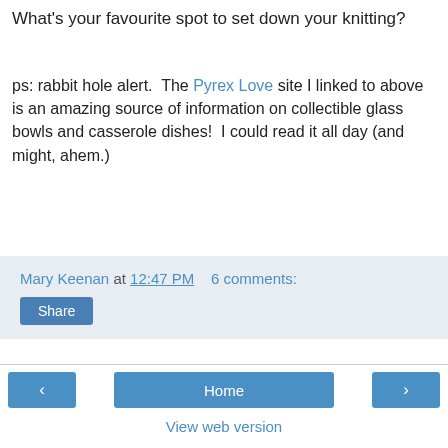What's your favourite spot to set down your knitting?
ps: rabbit hole alert.  The Pyrex Love site I linked to above is an amazing source of information on collectible glass bowls and casserole dishes!  I could read it all day (and might, ahem.)
Mary Keenan at 12:47 PM   6 comments:
Share
Home
View web version
About Me